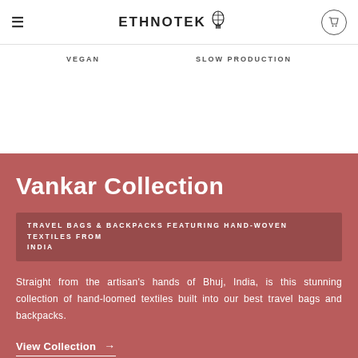ETHNOTEK
VEGAN   SLOW PRODUCTION
Vankar Collection
TRAVEL BAGS & BACKPACKS FEATURING HAND-WOVEN TEXTILES FROM INDIA
Straight from the artisan's hands of Bhuj, India, is this stunning collection of hand-loomed textiles built into our best travel bags and backpacks.
View Collection →